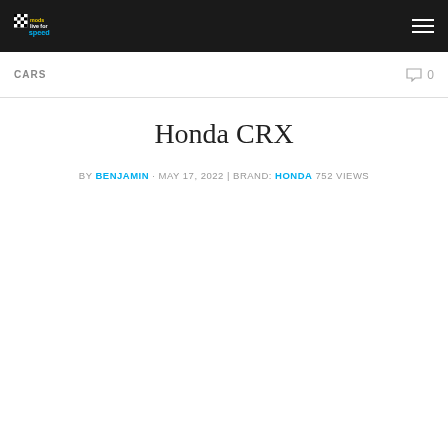Mods for Speed — [logo]
CARS
Honda CRX
BY BENJAMIN · MAY 17, 2022 | BRAND: HONDA 752 VIEWS